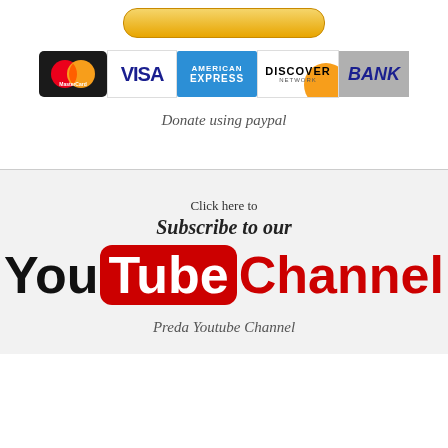[Figure (other): PayPal donation button (gold/orange rounded rectangle)]
[Figure (other): Payment method logos: MasterCard, VISA, American Express, Discover Network, BANK]
Donate using paypal
[Figure (other): YouTube channel subscription graphic with text 'Click here to Subscribe to our YouTube Channel']
Preda Youtube Channel